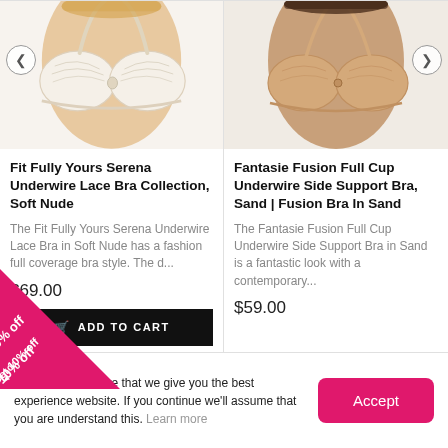[Figure (photo): White/cream lace underwire bra on female model, top half visible, with left navigation arrow overlay]
[Figure (photo): Beige/sand full cup underwire bra on female model, top half visible, with right navigation arrow overlay]
Fit Fully Yours Serena Underwire Lace Bra Collection, Soft Nude
The Fit Fully Yours Serena Underwire Lace Bra in Soft Nude has a fashion full coverage bra style. The d...
$69.00
ADD TO CART
Fantasie Fusion Full Cup Underwire Side Support Bra, Sand | Fusion Bra In Sand
The Fantasie Fusion Full Cup Underwire Side Support Bra in Sand is a fantastic look with a contemporary...
$59.00
e cookies to ensure that we give you the best experience website. If you continue we'll assume that you are understand this. Learn more
Accept
Get 10% off